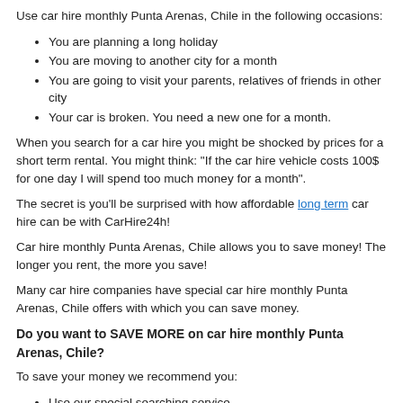Use car hire monthly Punta Arenas, Chile in the following occasions:
You are planning a long holiday
You are moving to another city for a month
You are going to visit your parents, relatives of friends in other city
Your car is broken. You need a new one for a month.
When you search for a car hire you might be shocked by prices for a short term rental. You might think: "If the car hire vehicle costs 100$ for one day I will spend too much money for a month".
The secret is you'll be surprised with how affordable long term car hire can be with CarHire24h!
Car hire monthly Punta Arenas, Chile allows you to save money! The longer you rent, the more you save!
Many car hire companies have special car hire monthly Punta Arenas, Chile offers with which you can save money.
Do you want to SAVE MORE on car hire monthly Punta Arenas, Chile?
To save your money we recommend you:
Use our special searching service
Use our online booking. Usual it's cheaper.
Do not try to save on insurance; otherwise you will spend much more money if you damage a car hire vehicle. On CarHire24h all the insurance issues are included to rates!
[break]